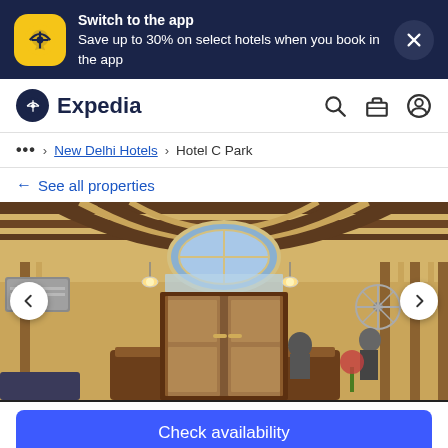Switch to the app
Save up to 30% on select hotels when you book in the app
[Figure (logo): Expedia logo with airplane icon]
... > New Delhi Hotels > Hotel C Park
← See all properties
[Figure (photo): Hotel C Park lobby interior with ornate ceiling, reception desk, and wooden entrance doors]
Check availability